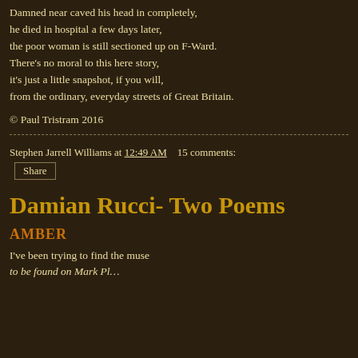Damned near caved his head in completely,
he died in hospital a few days later,
the poor woman is still sectioned up on F-Ward.
There's no moral to this here story,
it's just a little snapshot, if you will,
from the ordinary, everyday streets of Great Britain.
© Paul Tristram 2016
Stephen Jarrell Williams at 12:49 AM   15 comments:
Share
Damian Rucci- Two Poems
AMBER
I've been trying to find the muse